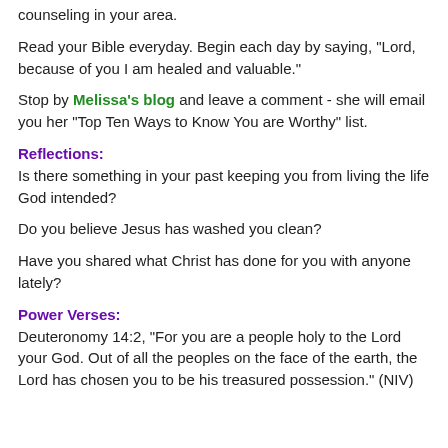counseling in your area.
Read your Bible everyday. Begin each day by saying, "Lord, because of you I am healed and valuable."
Stop by Melissa's blog and leave a comment - she will email you her "Top Ten Ways to Know You are Worthy" list.
Reflections:
Is there something in your past keeping you from living the life God intended?
Do you believe Jesus has washed you clean?
Have you shared what Christ has done for you with anyone lately?
Power Verses:
Deuteronomy 14:2, "For you are a people holy to the Lord your God. Out of all the peoples on the face of the earth, the Lord has chosen you to be his treasured possession." (NIV)